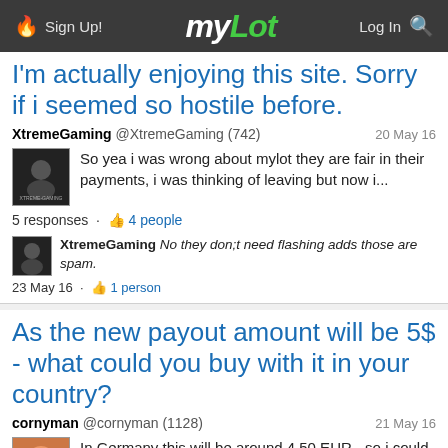myLot — Sign Up! | Log In
I'm actually enjoying this site. Sorry if i seemed so hostile before.
XtremeGaming @XtremeGaming (742) — 20 May 16
So yea i was wrong about mylot they are fair in their payments, i was thinking of leaving but now i...
5 responses · 4 people
XtremeGaming No they don;t need flashing adds those are spam.
23 May 16 · 1 person
As the new payout amount will be 5$ - what could you buy with it in your country?
cornyman @cornyman (1128) — 21 May 16
In Germany this will be around 4,50 EUR - so i could buy one of these things - one kid's comic...
15 responses · 8 people
XtremeGaming @cornyman So it is about the same as here :)